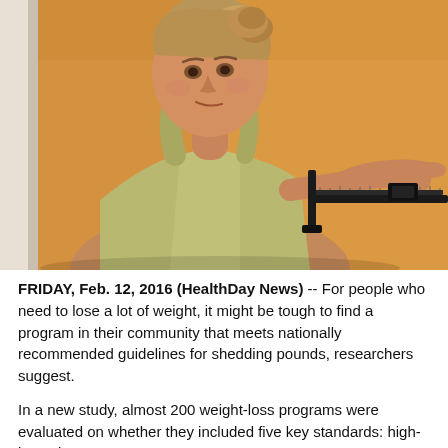[Figure (photo): A young woman with her hair up in a bun, wearing a light yellow/olive tank top, looking down with a concerned expression at a balance scale she is adjusting with her hand. The background is an orange/amber wall.]
FRIDAY, Feb. 12, 2016 (HealthDay News) -- For people who need to lose a lot of weight, it might be tough to find a program in their community that meets nationally recommended guidelines for shedding pounds, researchers suggest.
In a new study, almost 200 weight-loss programs were evaluated on whether they included five key standards: high-intensity